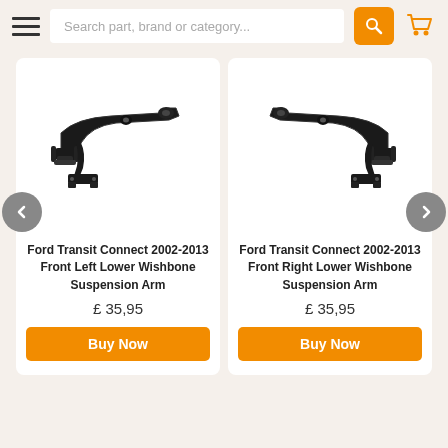[Figure (screenshot): E-commerce website header with hamburger menu, search bar placeholder 'Search part, brand or category...', orange search button, and orange cart icon]
[Figure (photo): Ford Transit Connect 2002-2013 Front Left Lower Wishbone Suspension Arm - black metal control arm]
Ford Transit Connect 2002-2013 Front Left Lower Wishbone Suspension Arm
£ 35,95
Buy Now
[Figure (photo): Ford Transit Connect 2002-2013 Front Right Lower Wishbone Suspension Arm - black metal control arm]
Ford Transit Connect 2002-2013 Front Right Lower Wishbone Suspension Arm
£ 35,95
Buy Now